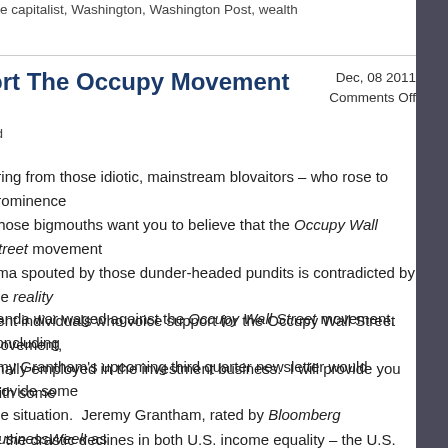ure capitalist, Washington, Washington Post, wealth
ort The Occupy Movement
Dec, 08 2011
Comments Off
ed
aring from those idiotic, mainstream blovaitors – who rose to prominence Those bigmouths want you to believe that the Occupy Wall Street movement gma spouted by those dunder-headed pundits is contradicted by the reality nent individuals who voice support for the Occupy Wall Street movement, onally employed in the investment business.  I will provide you with some
ganda war waged against the Occupy Wall Street movement, concluding emy Grantham's upcoming third quarter newsletter would provide some the situation.  Jeremy Grantham, rated by Bloomberg BusinessWeek as r Managers, finally released an abbreviated edition of that newsletter one schedule.  In addition to expressing some supportive comments about the t he will be providing a special supplement, based specifically on that
re the drastic declines in both U.S. income equality – the U.S. has become